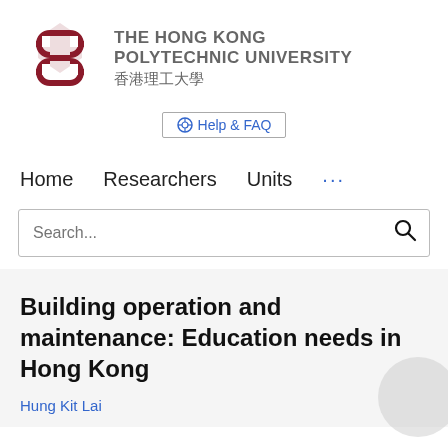[Figure (logo): The Hong Kong Polytechnic University logo with red interlocking diamond shape and university name in English and Chinese]
Help & FAQ
Home   Researchers   Units   ...
Search...
Building operation and maintenance: Education needs in Hong Kong
Hung Kit Lai